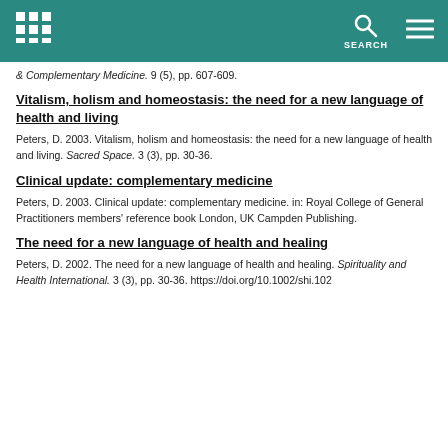SEARCH
& Complementary Medicine. 9 (5), pp. 607-609.
Vitalism, holism and homeostasis: the need for a new language of health and living
Peters, D. 2003. Vitalism, holism and homeostasis: the need for a new language of health and living. Sacred Space. 3 (3), pp. 30-36.
Clinical update: complementary medicine
Peters, D. 2003. Clinical update: complementary medicine. in: Royal College of General Practitioners members' reference book London, UK Campden Publishing.
The need for a new language of health and healing
Peters, D. 2002. The need for a new language of health and healing. Spirituality and Health International. 3 (3), pp. 30-36. https://doi.org/10.1002/shi.102